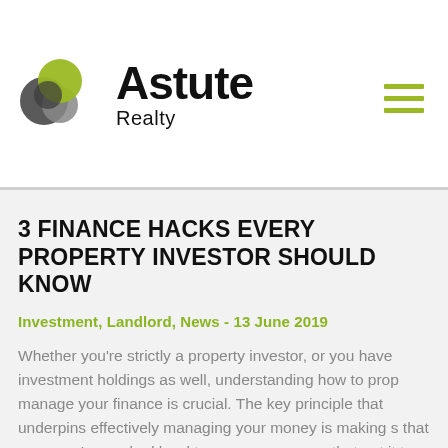[Figure (logo): Astute Realty logo with overlapping circle icons (gray, dark gray, olive/green) and bold text 'Astute Realty']
3 FINANCE HACKS EVERY PROPERTY INVESTOR SHOULD KNOW
Investment, Landlord, News  -  13 June 2019
Whether you're strictly a property investor, or you have investment holdings as well, understanding how to properly manage your finance is crucial. The key principle that underpins effectively managing your money is making sure that once you've worked hard to earn your money that you put it to work for you. Here are three…
READ MORE ▶